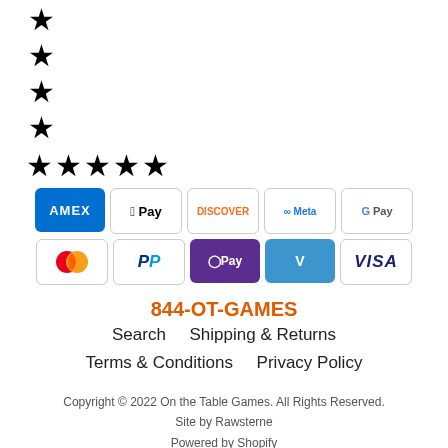★
★
★
★
★★★★★
[Figure (other): Payment method icons: American Express, Apple Pay, Discover, Meta Pay, Google Pay, Mastercard, PayPal, Shop Pay, Venmo, Visa]
844-OT-GAMES
Search    Shipping & Returns    Terms & Conditions    Privacy Policy
Copyright © 2022 On the Table Games. All Rights Reserved.
Site by Rawsterne
Powered by Shopify